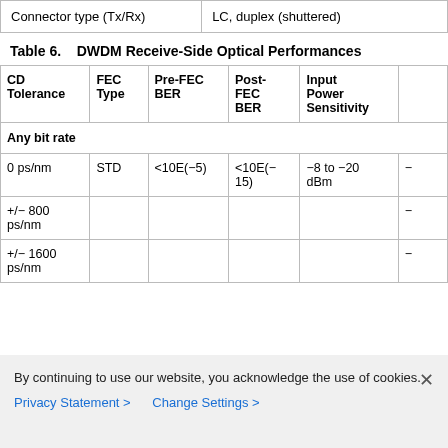|  |  |
| --- | --- |
| Connector type (Tx/Rx) | LC, duplex (shuttered) |
Table 6.    DWDM Receive-Side Optical Performances
| CD Tolerance | FEC Type | Pre-FEC BER | Post-FEC BER | Input Power Sensitivity |  |
| --- | --- | --- | --- | --- | --- |
| Any bit rate |  |  |  |  |  |
| 0 ps/nm | STD | <10E(-5) | <10E(-15) | -8 to -20 dBm | - |
| +/- 800 ps/nm |  |  |  |  | - |
| +/- 1600 ps/nm |  |  |  |  | - |
By continuing to use our website, you acknowledge the use of cookies.
Privacy Statement >   Change Settings >